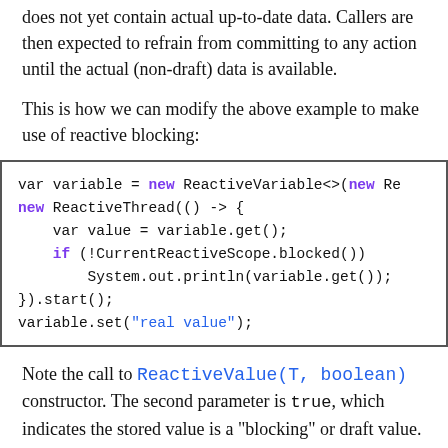does not yet contain actual up-to-date data. Callers are then expected to refrain from committing to any action until the actual (non-draft) data is available.
This is how we can modify the above example to make use of reactive blocking:
[Figure (screenshot): Code block showing: var variable = new ReactiveVariable<>(new Re... / new ReactiveThread(() -> { / var value = variable.get(); / if (!CurrentReactiveScope.blocked()) / System.out.println(variable.get()); / }).start(); / variable.set("real value");]
Note the call to ReactiveValue(T, boolean) constructor. The second parameter is true, which indicates the stored value is a "blocking" or draft value. When we later read the blocking value in the